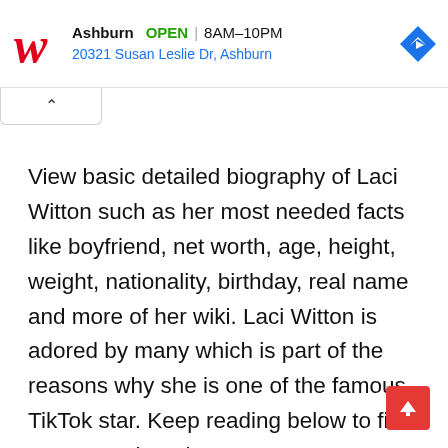[Figure (infographic): Walgreens advertisement banner showing store location in Ashburn, OPEN 8AM-10PM, address 20321 Susan Leslie Dr, Ashburn, with Walgreens logo and navigation icon]
View basic detailed biography of Laci Witton such as her most needed facts like boyfriend, net worth, age, height, weight, nationality, birthday, real name and more of her wiki. Laci Witton is adored by many which is part of the reasons why she is one of the famous TikTok star. Keep reading below to find out more about her.